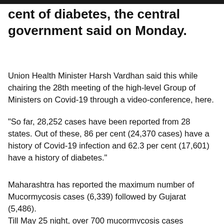…cent of diabetes, the central government said on Monday.
Union Health Minister Harsh Vardhan said this while chairing the 28th meeting of the high-level Group of Ministers on Covid-19 through a video-conference, here.
“So far, 28,252 cases have been reported from 28 states. Out of these, 86 per cent (24,370 cases) have a history of Covid-19 infection and 62.3 per cent (17,601) have a history of diabetes.”
Maharashtra has reported the maximum number of Mucormycosis cases (6,339) followed by Gujarat (5,486).
Till May 25 night, over 700 mucormycosis cases…